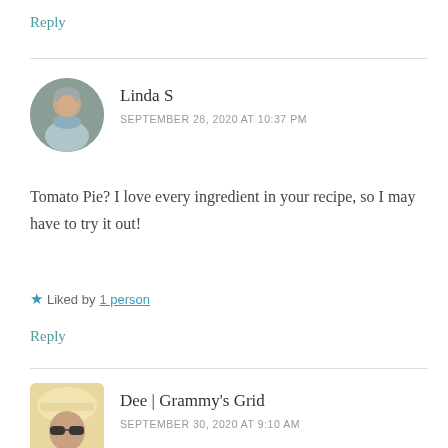Reply
Linda S
SEPTEMBER 28, 2020 AT 10:37 PM
Tomato Pie? I love every ingredient in your recipe, so I may have to try it out!
★ Liked by 1 person
Reply
Dee | Grammy's Grid
SEPTEMBER 30, 2020 AT 9:10 AM